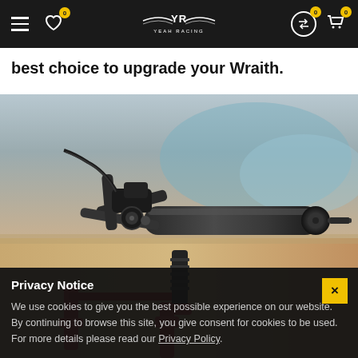Yeah Racing navigation bar with hamburger menu, wishlist icon (0), logo, exchange icon (0), cart icon (0)
best choice to upgrade your Wraith.
[Figure (photo): Close-up photo of a black aluminum RC car axle/drive shaft component with machined metal parts, red stand, on a wooden surface]
Privacy Notice
We use cookies to give you the best possible experience on our website. By continuing to browse this site, you give consent for cookies to be used. For more details please read our Privacy Policy.